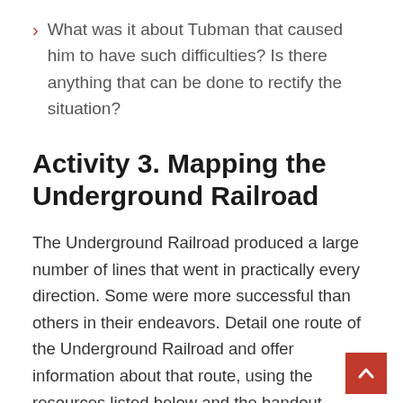What was it about Tubman that caused him to have such difficulties? Is there anything that can be done to rectify the situation?
Activity 3. Mapping the Underground Railroad
The Underground Railroad produced a large number of lines that went in practically every direction. Some were more successful than others in their endeavors. Detail one route of the Underground Railroad and offer information about that route, using the resources listed below and the handout provided. Include the following information: